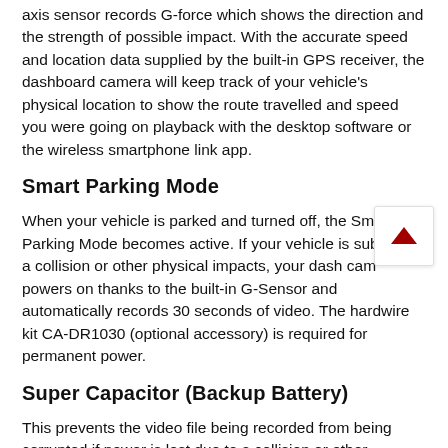axis sensor records G-force which shows the direction and the strength of possible impact. With the accurate speed and location data supplied by the built-in GPS receiver, the dashboard camera will keep track of your vehicle's physical location to show the route travelled and speed you were going on playback with the desktop software or the wireless smartphone link app.
Smart Parking Mode
When your vehicle is parked and turned off, the Smart Parking Mode becomes active. If your vehicle is subject to a collision or other physical impacts, your dash cam powers on thanks to the built-in G-Sensor and automatically records 30 seconds of video. The hardwire kit CA-DR1030 (optional accessory) is required for permanent power.
Super Capacitor (Backup Battery)
This prevents the video file being recorded from being corrupted if power is lost due to a collision or other physical impacts, as it provides enough power to allow the file to save properly.